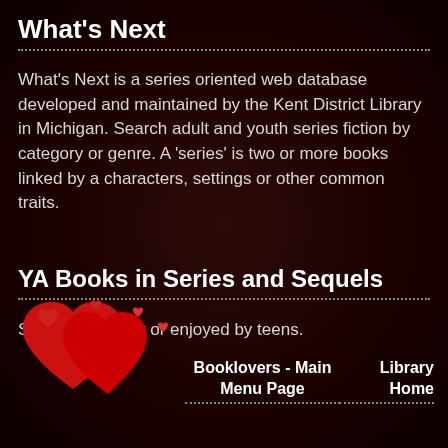What's Next
What's Next is a series oriented web database developed and maintained by the Kent District Library in Michigan. Search adult and youth series fiction by category or genre. A 'series' is two or more books linked by a characters, settings or other common traits.
YA Books in Series and Sequels
Series written for or enjoyed by teens.
[Figure (illustration): Decorative red hearts illustration with small floating hearts around two large red hearts on a dark background]
Booklovers - Main Menu Page
Library Home